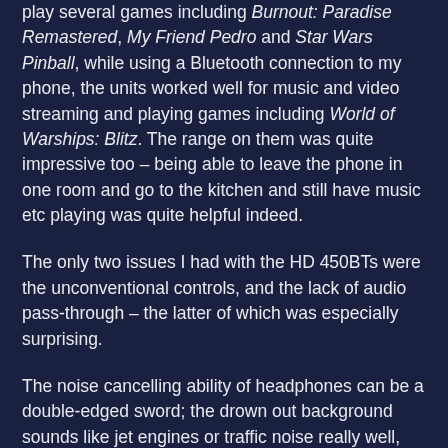play several games including Burnout: Paradise Remastered, My Friend Pedro and Star Wars Pinball, while using a Bluetooth connection to my phone, the units worked well for music and video streaming and playing games including World of Warships: Blitz. The range on them was quite impressive too – being able to leave the phone in one room and go to the kitchen and still have music etc playing was quite helpful indeed.
The only two issues I had with the HD 450BTs were the unconventional controls, and the lack of audio pass-through – the latter of which was especially surprising.
The noise cancelling ability of headphones can be a double-edged sword; the drown out background sounds like jet engines or traffic noise really well, but they also make it hard to hear the kids arguing over whose turn it is to pick a TV show or your partner wanting the bins taken out, so having an audio pass through feature which lets you hear what's going on would be a